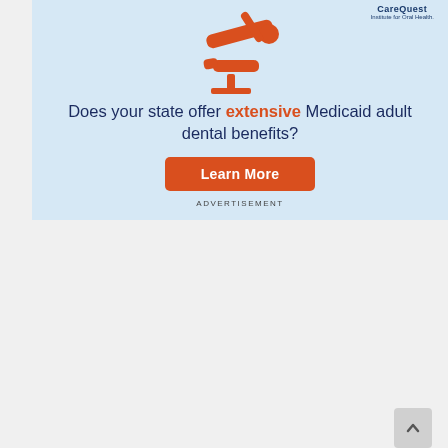[Figure (illustration): CareQuest Institute for Oral Health advertisement. Light blue background with orange icon of a person in a dental chair. Text reads: 'Does your state offer extensive Medicaid adult dental benefits?' with a red 'Learn More' button and 'ADVERTISEMENT' label.]
[Figure (illustration): NCSL Forecast '23 conference advertisement. Blue gradient background with weather icons (clouds and sun). Text: 'NCSL FORECAST '23 PREPARING FOR LEGISLATIVE SESSIONS SAN DIEGO REGISTER DEC. 5-7']